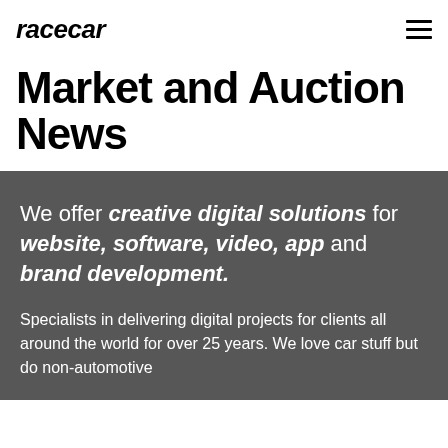racecar
Market and Auction News
We offer creative digital solutions for website, software, video, app and brand development.
Specialists in delivering digital projects for clients all around the world for over 25 years. We love car stuff but do non-automotive